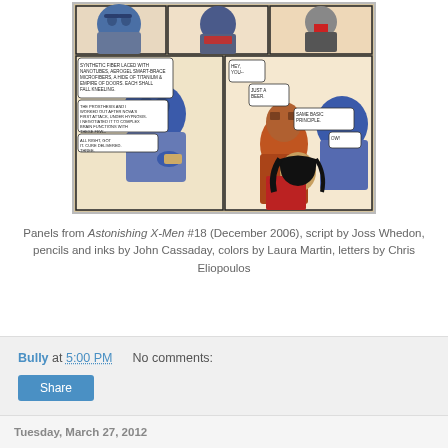[Figure (illustration): Comic book panels from Astonishing X-Men #18 showing Beast (blue furry character in suit) and Wolverine with a dark-haired woman. Two rows of panels with speech bubbles.]
Panels from Astonishing X-Men #18 (December 2006), script by Joss Whedon, pencils and inks by John Cassaday, colors by Laura Martin, letters by Chris Eliopoulos
Bully at 5:00 PM    No comments:
Share
Tuesday, March 27, 2012